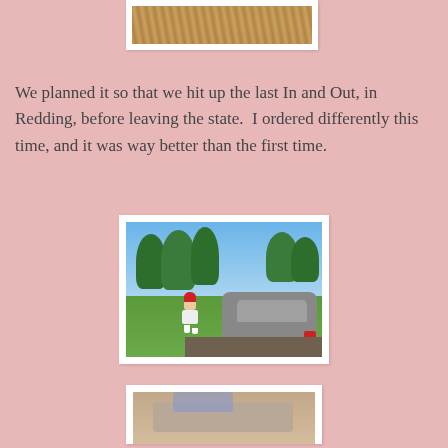[Figure (photo): Top partial photo of a dog or animal, cropped at top of page]
We planned it so that we hit up the last In and Out, in Redding, before leaving the state.  I ordered differently this time, and it was way better than the first time.
[Figure (photo): Outdoor photo at an In-N-Out drive-through: a person in a red cap and white uniform walking beside a gray car, with trees and blue sky in the background]
[Figure (photo): Partially visible bottom photo, cropped — appears to show food or a meal on a surface]